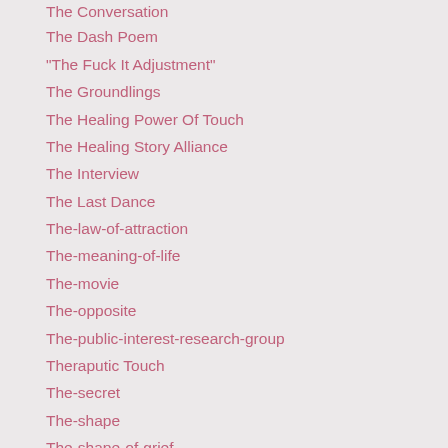The Conversation
The Dash Poem
"The Fuck It Adjustment"
The Groundlings
The Healing Power Of Touch
The Healing Story Alliance
The Interview
The Last Dance
The-law-of-attraction
The-meaning-of-life
The-movie
The-opposite
The-public-interest-research-group
Theraputic Touch
The-secret
The-shape
The-shape-of-grief
The-shape-of-loss
The-smell-of-loss
The-Talk